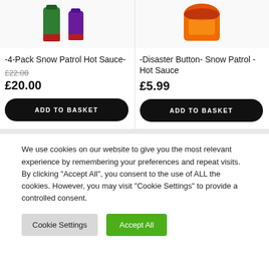[Figure (photo): Product images: two hot sauce bottles (green and purple) on left, one jar (orange/brown) on right]
-4-Pack Snow Patrol Hot Sauce-
£22.00 (strikethrough original price)
£20.00
ADD TO BASKET
-Disaster Button- Snow Patrol - Hot Sauce
£5.99
ADD TO BASKET
We use cookies on our website to give you the most relevant experience by remembering your preferences and repeat visits. By clicking "Accept All", you consent to the use of ALL the cookies. However, you may visit "Cookie Settings" to provide a controlled consent.
Cookie Settings
Accept All